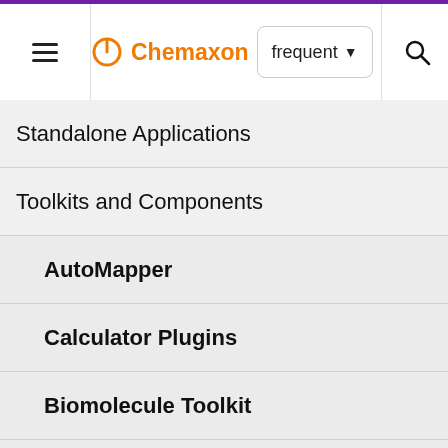Chemaxon | frequent | [search]
Standalone Applications
Toolkits and Components
AutoMapper
Calculator Plugins
Biomolecule Toolkit
Chemaxon Synergy
Document to Structure
JChem Base
JChem Base Administration
und stru relat